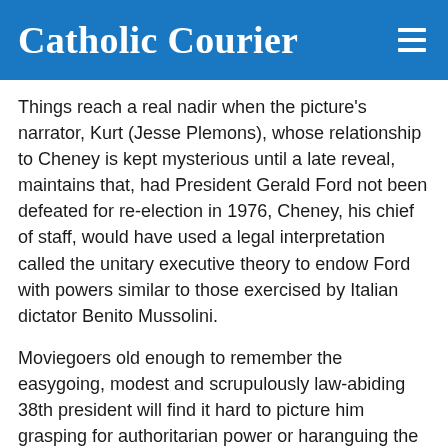Catholic Courier
Things reach a real nadir when the picture's narrator, Kurt (Jesse Plemons), whose relationship to Cheney is kept mysterious until a late reveal, maintains that, had President Gerald Ford not been defeated for re-election in 1976, Cheney, his chief of staff, would have used a legal interpretation called the unitary executive theory to endow Ford with powers similar to those exercised by Italian dictator Benito Mussolini.
Moviegoers old enough to remember the easygoing, modest and scrupulously law-abiding 38th president will find it hard to picture him grasping for authoritarian power or haranguing the crowds from a balcony — as old newsreel footage shows Il Duce doing. The comparison is absurd on its face.
Considering the history-altering events in which the film's three main characters were involved, a more nuanced